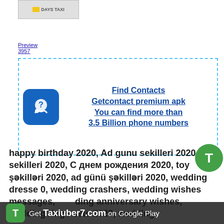[Figure (logo): Days Taxi logo image with yellow taxi icon]
Preview 3957
[Figure (infographic): GetContact advertisement box with phone icon. Find Contacts, Getcontact premium apk, You can find more than 3.5 Billion phone numbers]
Taxiuber7.com
happy birthday 2020, Ad gunu sekilleri 2020, Toy sekilleri 2020, С днем рождения 2020, toy şəkilləri 2020, ad günü şəkilləri 2020, wedding dresses 2020, wedding crashers, wedding wishes messages, wedding anniversary wishes, wedding rings sets 2020, wedding guest dresses, wedding shoes for women, wedding invitations
Get Taxiuber7.com on Google Play